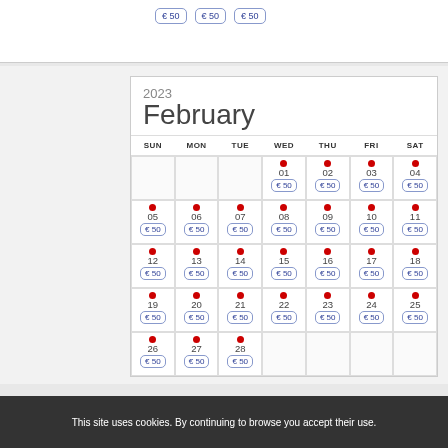[Figure (other): Previous month calendar cells showing three €50 price badges at top]
[Figure (other): February 2023 calendar with daily €50 price badges and red dot indicators for all 28 days]
This site uses cookies. By continuing to browse you accept their use.